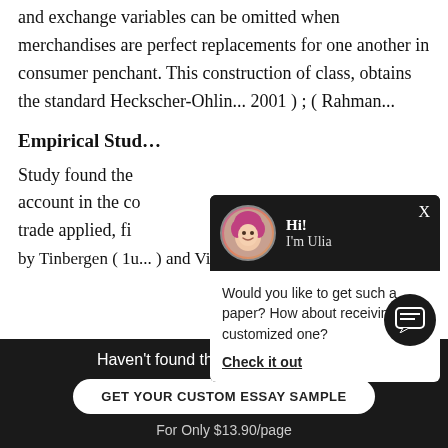and exchange variables can be omitted when merchandises are perfect replacements for one another in consumer penchant. This construction of class, obtains the standard Heckscher-Ohlin... 2001 ) ; ( Rahman...
Empirical Stud...
Study found the... account in the co... trade applied, fi... by Tinbergen ( 1u... ) and Vin...
[Figure (screenshot): Chat popup overlay with avatar of a woman with pink hair named Ulia, greeting 'Hi! I'm Ulia', with message 'Would you like to get such a paper? How about receiving a customized one?' and a 'Check it out' link. Close button X in top right.]
[Figure (screenshot): Bottom dark banner: 'Haven't found the Essay You Want?' with button 'GET YOUR CUSTOM ESSAY SAMPLE' and text 'For Only $13.90/page'. Close X button on right.]